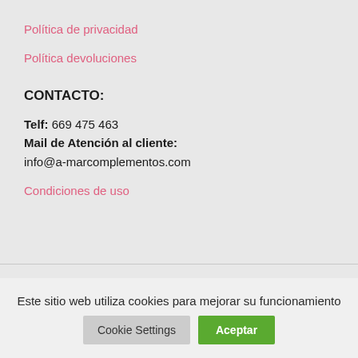Política de privacidad
Política devoluciones
CONTACTO:
Telf: 669 475 463
Mail de Atención al cliente:
info@a-marcomplementos.com
Condiciones de uso
Este sitio web utiliza cookies para mejorar su funcionamiento
Cookie Settings
Aceptar